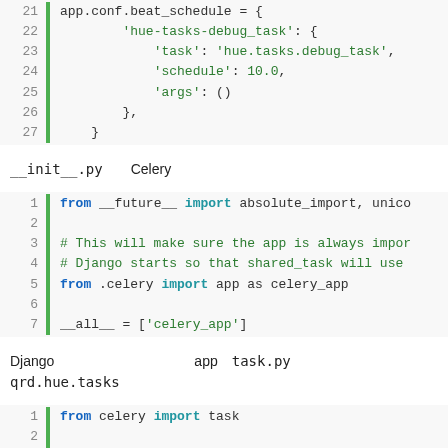[Figure (screenshot): Code block showing Python lines 21-27: app.conf.beat_schedule dictionary with hue-tasks-debug_task entry]
__init__.py　　Celery
[Figure (screenshot): Code block lines 1-7: from __future__ import absolute_import, unico... comment lines about app import, from .celery import app as celery_app, __all__ = ['celery_app']]
Django　　　　　　　　　　app　task.py　　　　　qrd.hue.tasks
[Figure (screenshot): Code block lines 1-6: from celery import task, @task, def debug_task(): #print(arg), return 'debug_task']